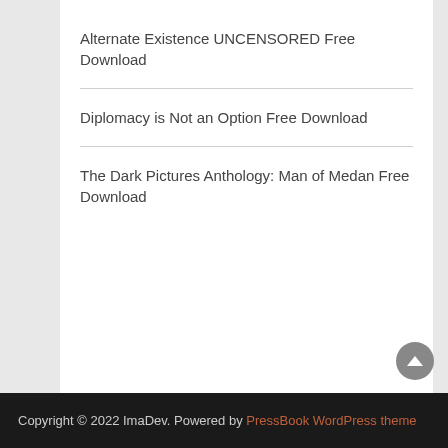Alternate Existence UNCENSORED Free Download
Diplomacy is Not an Option Free Download
The Dark Pictures Anthology: Man of Medan Free Download
Copyright © 2022 ImaDev. Powered by PressBook WordPress theme